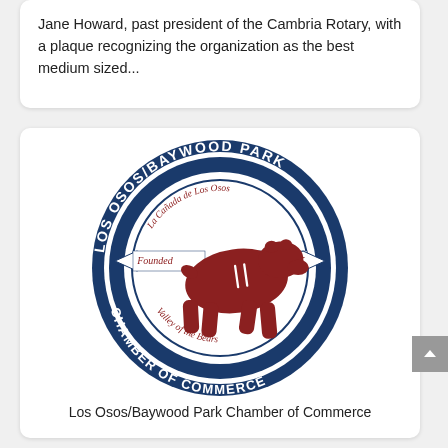Jane Howard, past president of the Cambria Rotary, with a plaque recognizing the organization as the best medium sized...
[Figure (logo): Los Osos/Baywood Park Chamber of Commerce circular seal logo featuring a brown grizzly bear walking, with text around the border reading 'LOS OSOS/BAYWOOD PARK CHAMBER OF COMMERCE', a banner across the middle reading 'Founded' on the left and '1915' on the right, and inner text reading 'La Cañada de Los Osos' at top and 'Valley of the Bears' at bottom.]
Los Osos/Baywood Park Chamber of Commerce